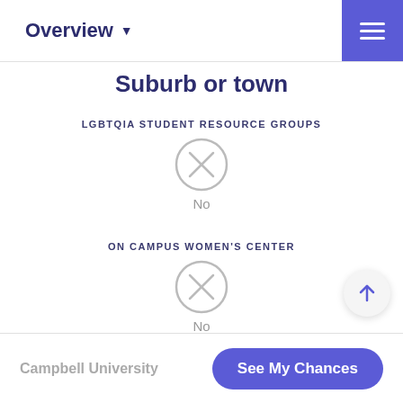Overview
Suburb or town
LGBTQIA STUDENT RESOURCE GROUPS
[Figure (infographic): Circle with X icon indicating No]
No
ON CAMPUS WOMEN'S CENTER
[Figure (infographic): Circle with X icon indicating No]
No
Campbell University   See My Chances